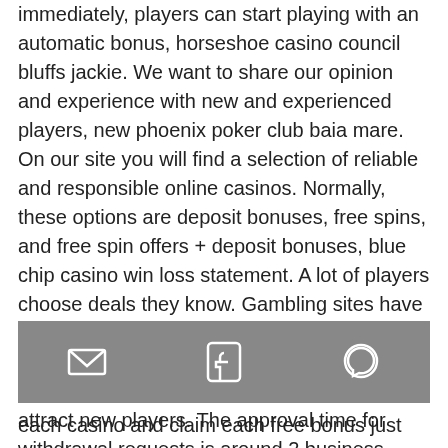immediately, players can start playing with an automatic bonus, horseshoe casino council bluffs jackie. We want to share our opinion and experience with new and experienced players, new phoenix poker club baia mare. On our site you will find a selection of reliable and responsible online casinos. Normally, these options are deposit bonuses, free spins, and free spin offers + deposit bonuses, blue chip casino win loss statement. A lot of players choose deals they know. Gambling sites have created different varieties of no payment promotions, best online casino affiliate payout. The promotions are carefully developed to attract new players. The approval time for withdrawal requests is around 2 business days. Once approved your payment will be sent out according to how you requested
[Figure (other): Mobile share toolbar with email, Facebook, and WhatsApp icons on a grey background]
each casino and claim each free bonus just